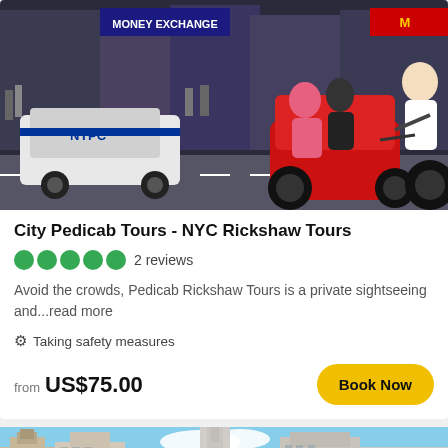[Figure (photo): Street scene in Times Square NYC showing a red pedicab rickshaw with two passengers being pedaled by a young man in white shirt, with NYPD police car and yellow taxis in background, storefronts including Money Exchange sign visible]
City Pedicab Tours - NYC Rickshaw Tours
2 reviews
Avoid the crowds, Pedicab Rickshaw Tours is a private sightseeing and...read more
Taking safety measures
from US$75.00
[Figure (photo): Partial view of New York City skyline showing historic buildings and skyscrapers including what appears to be the Empire State Building area, blue sky with clouds]